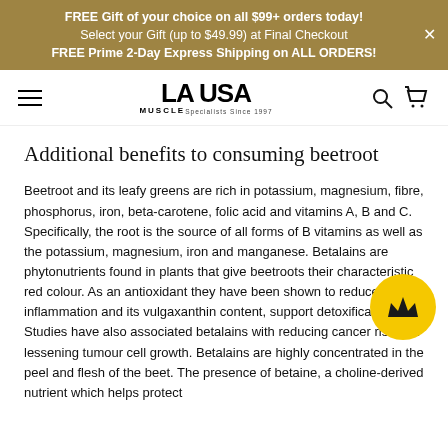FREE Gift of your choice on all $99+ orders today! Select your Gift (up to $49.99) at Final Checkout FREE Prime 2-Day Express Shipping on ALL ORDERS!
[Figure (logo): LA Muscle USA logo with hamburger menu, search and cart icons]
Additional benefits to consuming beetroot
Beetroot and its leafy greens are rich in potassium, magnesium, fibre, phosphorus, iron, beta-carotene, folic acid and vitamins A, B and C. Specifically, the root is the source of all forms of B vitamins as well as the potassium, magnesium, iron and manganese. Betalains are phytonutrients found in plants that give beetroots their characteristic red colour. As an antioxidant they have been shown to reduce inflammation and its vulgaxanthin content, support detoxification. Studies have also associated betalains with reducing cancer risk and lessening tumour cell growth. Betalains are highly concentrated in the peel and flesh of the beet. The presence of betaine, a choline-derived nutrient which helps protect